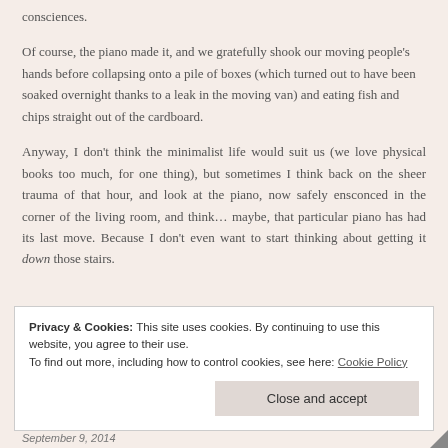consciences.
Of course, the piano made it, and we gratefully shook our moving people's hands before collapsing onto a pile of boxes (which turned out to have been soaked overnight thanks to a leak in the moving van) and eating fish and chips straight out of the cardboard.
Anyway, I don't think the minimalist life would suit us (we love physical books too much, for one thing), but sometimes I think back on the sheer trauma of that hour, and look at the piano, now safely ensconced in the corner of the living room, and think… maybe, that particular piano has had its last move. Because I don't even want to start thinking about getting it down those stairs.
Privacy & Cookies: This site uses cookies. By continuing to use this website, you agree to their use. To find out more, including how to control cookies, see here: Cookie Policy
September 9, 2014